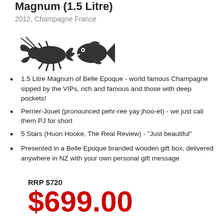Magnum (1.5 Litre)
2012, Champagne France
[Figure (illustration): Two dark silhouette icons: a lobster/crayfish on the left and a fish on the right, representing food pairing suggestions]
1.5 Litre Magnum of Belle Epoque - world famous Champagne sipped by the VIPs, rich and famous and those with deep pockets!
Perrier-Jouet (pronounced pehr-ree yay jhoo-et) - we just call them PJ for short
5 Stars (Huon Hooke, The Real Review) - "Just beautiful"
Presented in a Belle Epoque branded wooden gift box, delivered anywhere in NZ with your own personal gift message
RRP $720
$699.00